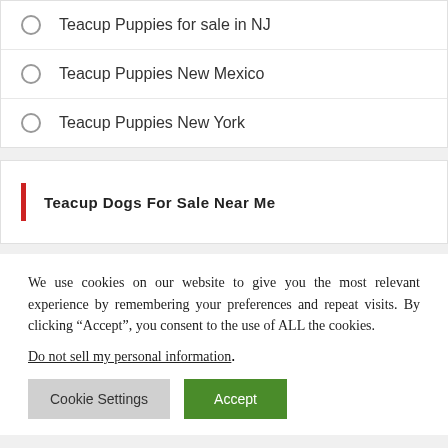Teacup Puppies for sale in NJ
Teacup Puppies New Mexico
Teacup Puppies New York
Teacup Dogs For Sale Near Me
We use cookies on our website to give you the most relevant experience by remembering your preferences and repeat visits. By clicking “Accept”, you consent to the use of ALL the cookies.
Do not sell my personal information.